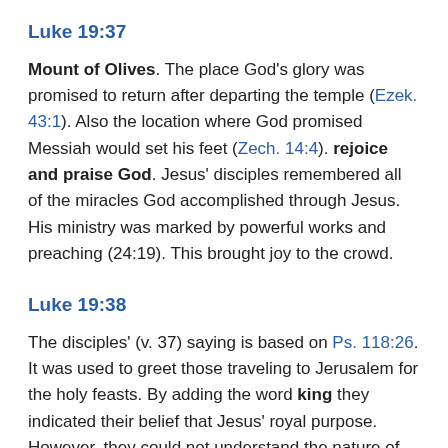Luke 19:37
Mount of Olives. The place God's glory was promised to return after departing the temple (Ezek. 43:1). Also the location where God promised Messiah would set his feet (Zech. 14:4). rejoice and praise God. Jesus' disciples remembered all of the miracles God accomplished through Jesus. His ministry was marked by powerful works and preaching (24:19). This brought joy to the crowd.
Luke 19:38
The disciples' (v. 37) saying is based on Ps. 118:26. It was used to greet those traveling to Jerusalem for the holy feasts. By adding the word king they indicated their belief that Jesus' royal purpose. However, they could not understand the nature of his Messianic